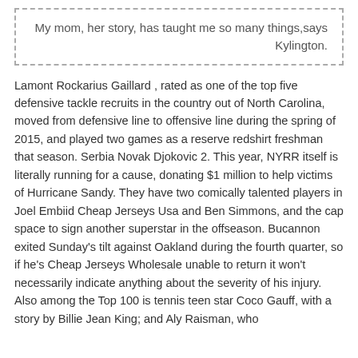My mom, her story, has taught me so many things,says Kylington.
Lamont Rockarius Gaillard , rated as one of the top five defensive tackle recruits in the country out of North Carolina, moved from defensive line to offensive line during the spring of 2015, and played two games as a reserve redshirt freshman that season. Serbia Novak Djokovic 2. This year, NYRR itself is literally running for a cause, donating $1 million to help victims of Hurricane Sandy. They have two comically talented players in Joel Embiid Cheap Jerseys Usa and Ben Simmons, and the cap space to sign another superstar in the offseason. Bucannon exited Sunday's tilt against Oakland during the fourth quarter, so if he's Cheap Jerseys Wholesale unable to return it won't necessarily indicate anything about the severity of his injury. Also among the Top 100 is tennis teen star Coco Gauff, with a story by Billie Jean King; and Aly Raisman, who